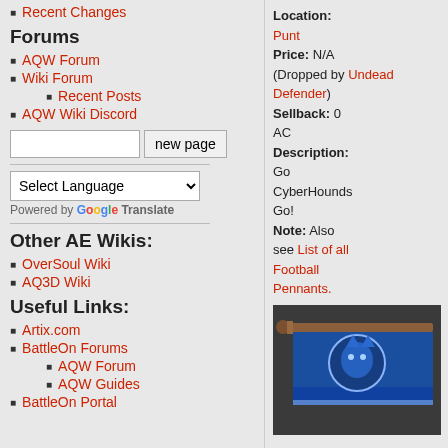Recent Changes
Forums
AQW Forum
Wiki Forum
Recent Posts
AQW Wiki Discord
[search box] new page
Select Language (dropdown)
Powered by Google Translate
Other AE Wikis:
OverSoul Wiki
AQ3D Wiki
Useful Links:
Artix.com
BattleOn Forums
AQW Forum
AQW Guides
BattleOn Portal
Location: Punt
Price: N/A (Dropped by Undead Defender)
Sellback: 0 AC
Description: Go CyberHounds Go!
Note: Also see List of all Football Pennants.
[Figure (illustration): A blue pennant/banner with a CyberHounds logo on a dark background, mounted on a wooden pole.]